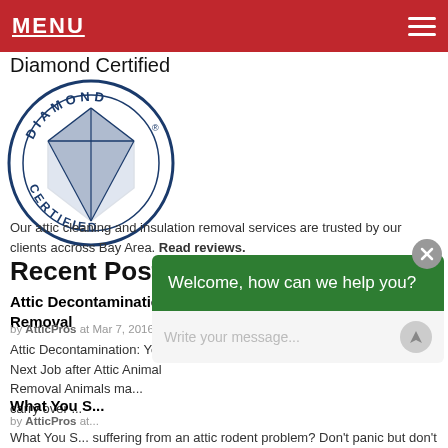MENU
Diamond Certified
[Figure (logo): Diamond Certified circular logo with diamond gem illustration]
Our attic cleaning and insulation removal services are trusted by our clients accross Bay Area. Read reviews.
Recent Posts
Attic Decontamination Your Next Job after Attic Animal Removal
by AtticPros at Mar 7, 2016 / Comments Closed
Attic Decontamination: Your Next Job after Attic Animal Removal Animals ma... carry over ...
What You S...
by AtticPros at...
What You S... suffering from an attic rodent problem? Don't panic but don't ignore it